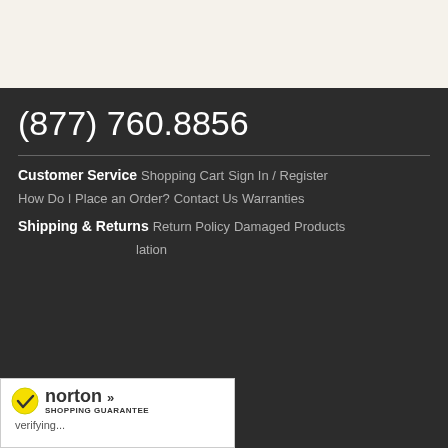(877) 760.8856
Customer Service
Shopping Cart
Sign In / Register
How Do I Place an Order?
Contact Us
Warranties
Shipping & Returns
Return Policy
Damaged Products
…lation
[Figure (logo): Norton Shopping Guarantee badge with checkmark, norton name, and 'verifying...' text]